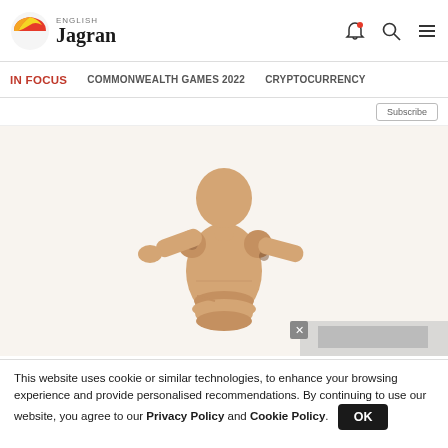ENGLISH Jagran
IN FOCUS   COMMONWEALTH GAMES 2022   CRYPTOCURRENCY
[Figure (photo): A wooden articulated mannequin figure in a thinking or back-pain pose, with one arm behind its back and the other raised near its head, against a white background.]
This website uses cookie or similar technologies, to enhance your browsing experience and provide personalised recommendations. By continuing to use our website, you agree to our Privacy Policy and Cookie Policy.